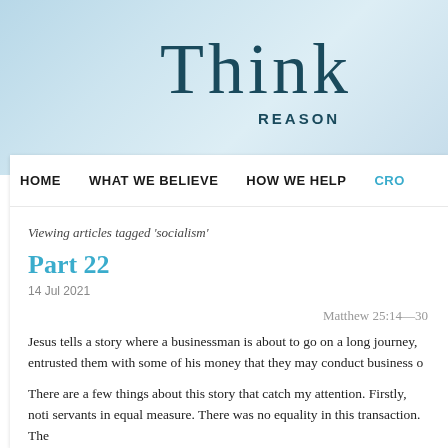Think
REASON
HOME   WHAT WE BELIEVE   HOW WE HELP   CRO
Viewing articles tagged 'socialism'
Part 22
14 Jul 2021
Matthew 25:14—30
Jesus tells a story where a businessman is about to go on a long journey, entrusted them with some of his money that they may conduct business o
There are a few things about this story that catch my attention. Firstly, noti servants in equal measure. There was no equality in this transaction. The